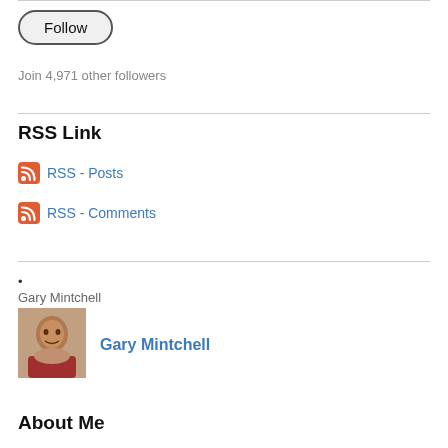[Figure (other): Follow button — pill-shaped button with border and label 'Follow']
Join 4,971 other followers
RSS Link
RSS - Posts
RSS - Comments
•
Gary Mintchell
[Figure (photo): Profile photo of Gary Mintchell — a person in a reddish shirt]
Gary Mintchell
About Me